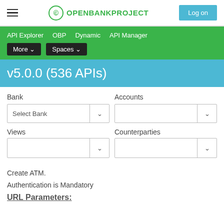OPENBANKPROJECT — Log on
API Explorer  OBP  Dynamic  API Manager  More  Spaces
v5.0.0 (536 APIs)
Bank  Accounts
Select Bank
Views  Counterparties
Create ATM.
Authentication is Mandatory
URL Parameters: